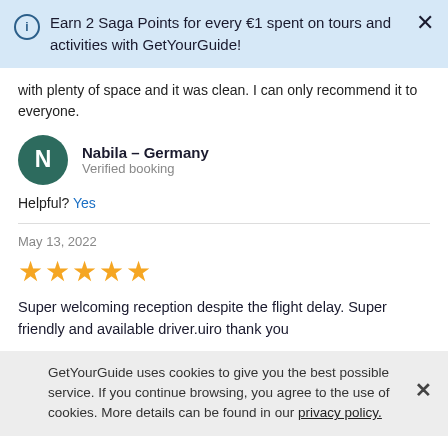Earn 2 Saga Points for every €1 spent on tours and activities with GetYourGuide!
with plenty of space and it was clean. I can only recommend it to everyone.
Nabila – Germany
Verified booking
Helpful? Yes
May 13, 2022
★★★★★
Super welcoming reception despite the flight delay. Super friendly and available driver.uiro thank you
GetYourGuide uses cookies to give you the best possible service. If you continue browsing, you agree to the use of cookies. More details can be found in our privacy policy.